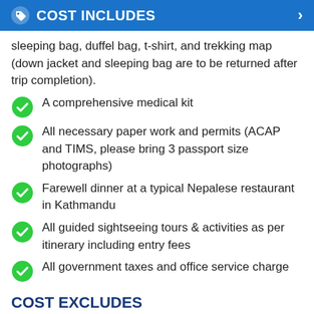COST INCLUDES
sleeping bag, duffel bag, t-shirt, and trekking map (down jacket and sleeping bag are to be returned after trip completion).
A comprehensive medical kit
All necessary paper work and permits (ACAP and TIMS, please bring 3 passport size photographs)
Farewell dinner at a typical Nepalese restaurant in Kathmandu
All guided sightseeing tours & activities as per itinerary including entry fees
All government taxes and office service charge
COST EXCLUDES
Meals not specified in the 'Meal Inclusions' in the itinerary'